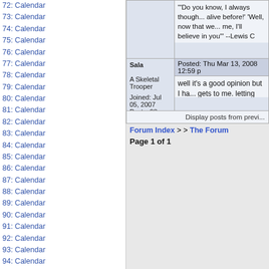72: Calendar
73: Calendar
74: Calendar
75: Calendar
76: Calendar
77: Calendar
78: Calendar
79: Calendar
80: Calendar
81: Calendar
82: Calendar
83: Calendar
84: Calendar
85: Calendar
86: Calendar
87: Calendar
88: Calendar
89: Calendar
90: Calendar
91: Calendar
92: Calendar
93: Calendar
94: Calendar
95: Calendar
96: Calendar
97: Calendar
98: Calendar
99: Calendar
100: Calendar
101: Calendar
102: Calendar
103: Calendar
104: Calendar
105: Calendar
106: Calendar
107: Calendar
108: Calendar
109: Calendar
110: Calendar
111: Calendar
112: Calendar
113: Calendar
'Do you know, I always though...alive before!' 'Well, now that we...me, I'll believe in you'' --Lewis C
Sala
A Skeletal Trooper
Joined: Jul 05, 2007
Posts: 98
Location: Illinios (currently)
Posted: Thu Mar 13, 2008 12:59 p
well it's a good opinion but I ha...gets to me. letting him in for a f...much and is easily cleaned up....normally. It is just an added pre...more safe... he isn't gonig to be...than the average mutt
Display posts from previ...
Forum Index > > The Forum
Page 1 of 1